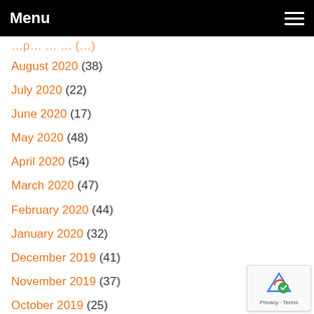Menu
August 2020 (38)
July 2020 (22)
June 2020 (17)
May 2020 (48)
April 2020 (54)
March 2020 (47)
February 2020 (44)
January 2020 (32)
December 2019 (41)
November 2019 (37)
October 2019 (25)
September 2019 (55)
August 2019 (18)
July 2019 (24)